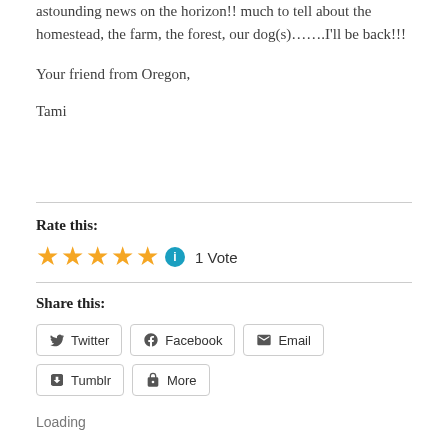astounding news on the horizon!! much to tell about the homestead, the farm, the forest, our dog(s)…….I'll be back!!!
Your friend from Oregon,
Tami
Rate this:
[Figure (other): 5 gold stars rating with info icon and '1 Vote' label]
Share this:
[Figure (other): Share buttons: Twitter, Facebook, Email, Tumblr, More]
Loading